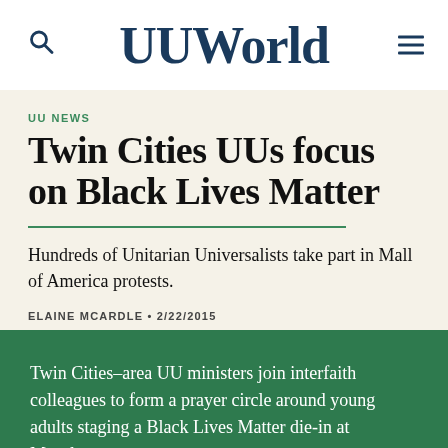UUWorld
UU NEWS
Twin Cities UUs focus on Black Lives Matter
Hundreds of Unitarian Universalists take part in Mall of America protests.
ELAINE MCARDLE • 2/22/2015
Twin Cities–area UU ministers join interfaith colleagues to form a prayer circle around young adults staging a Black Lives Matter die-in at Macalester